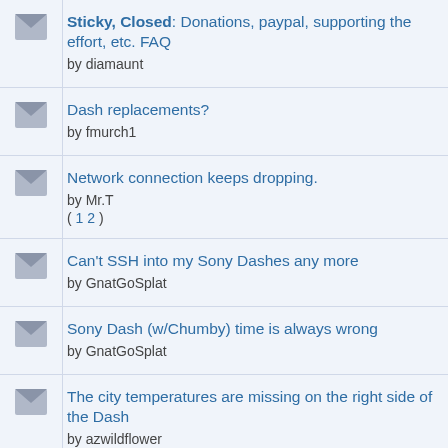Sticky, Closed: Donations, paypal, supporting the effort, etc. FAQ by diamaunt
Dash replacements? by fmurch1
Network connection keeps dropping. by Mr.T ( 1 2 )
Can't SSH into my Sony Dashes any more by GnatGoSplat
Sony Dash (w/Chumby) time is always wrong by GnatGoSplat
The city temperatures are missing on the right side of the Dash by azwildflower
Streaming connection...